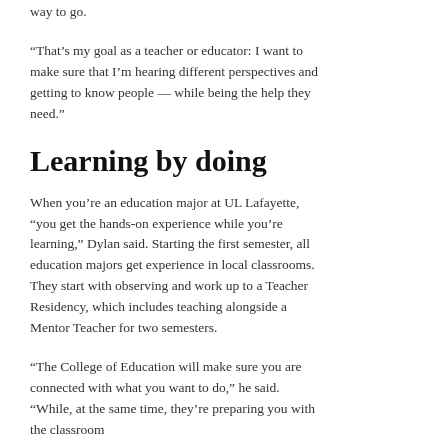way to go.
“That’s my goal as a teacher or educator: I want to make sure that I’m hearing different perspectives and getting to know people — while being the help they need.”
Learning by doing
When you’re an education major at UL Lafayette, “you get the hands-on experience while you’re learning,” Dylan said. Starting the first semester, all education majors get experience in local classrooms. They start with observing and work up to a Teacher Residency, which includes teaching alongside a Mentor Teacher for two semesters.
“The College of Education will make sure you are connected with what you want to do,” he said. “While, at the same time, they’re preparing you with the classroom